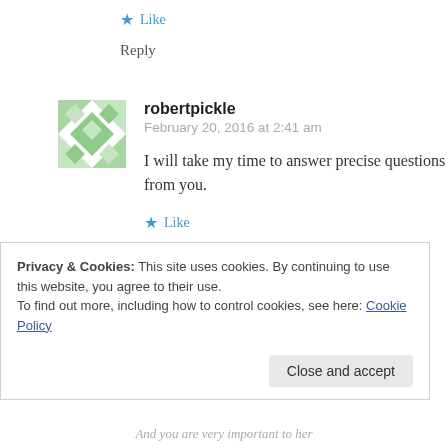★ Like
Reply
robertpickle
February 20, 2016 at 2:41 am
I will take my time to answer precise questions from you.
★ Like
Reply
Privacy & Cookies: This site uses cookies. By continuing to use this website, you agree to their use.
To find out more, including how to control cookies, see here: Cookie Policy
Close and accept
And you are very important to her